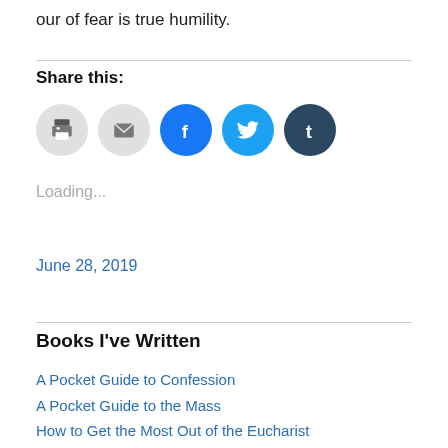our of fear is true humility.
Share this:
[Figure (other): Social sharing buttons: print, email, Facebook, Twitter, Tumblr]
Loading...
June 28, 2019
Books I've Written
A Pocket Guide to Confession
A Pocket Guide to the Mass
How to Get the Most Out of the Eucharist